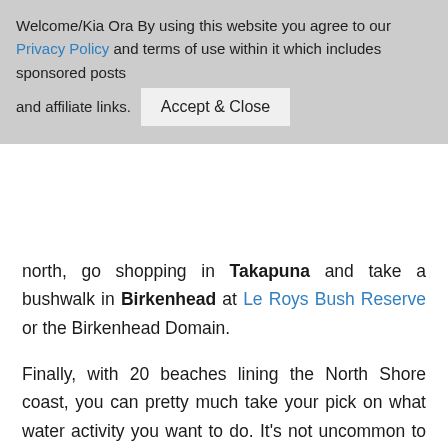Welcome/Kia Ora By using this website you agree to our Privacy Policy and terms of use within it which includes sponsored posts and affiliate links. [Accept & Close button]
north, go shopping in Takapuna and take a bushwalk in Birkenhead at Le Roys Bush Reserve or the Birkenhead Domain.
Finally, with 20 beaches lining the North Shore coast, you can pretty much take your pick on what water activity you want to do. It's not uncommon to see paddleboarders and kayakers out on the water. Take the North Shore Coastal Walk to make sure you hit all of the beaches. A lot of the beaches on the east coast